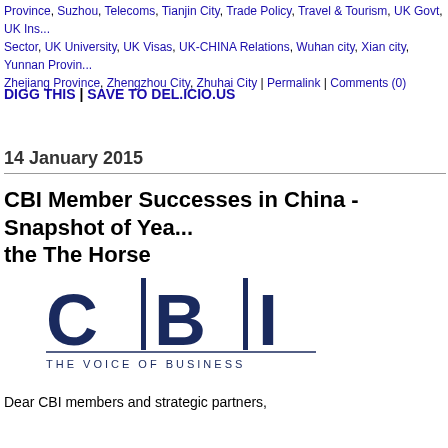Province, Suzhou, Telecoms, Tianjin City, Trade Policy, Travel & Tourism, UK Govt, UK Ins... Sector, UK University, UK Visas, UK-CHINA Relations, Wuhan city, Xian city, Yunnan Provin... Zhejiang Province, Zhengzhou City, Zhuhai City | Permalink | Comments (0)
DIGG THIS | SAVE TO DEL.ICIO.US
14 January 2015
CBI Member Successes in China - Snapshot of Year of the The Horse
[Figure (logo): CBI logo - The Voice of Business, dark blue text with vertical bar separators between C, B, and I letters]
Dear CBI members and strategic partners,
China Direct would like to share with you a snapshot of CBI members' successes in China through 2014. We hope that you found our new format easy to use, visual and informative and wish you all every success for the forthcoming year of the sheep.
Please do keep sending us your updates and press releases so that your business can also be highlighted in 2015.
Thank you,